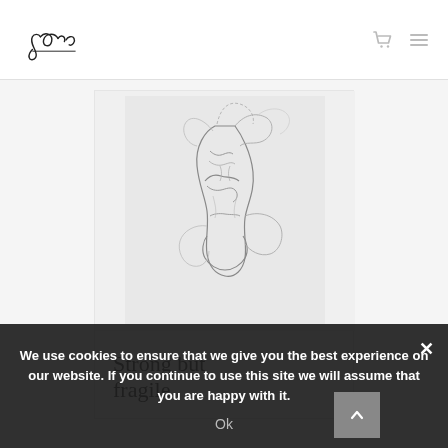Brand logo and navigation icons
[Figure (illustration): Pencil sketch illustration of a female torso/figure, fragmented and artistic in style, rendered in grayscale]
Strong but fragile
We use cookies to ensure that we give you the best experience on our website. If you continue to use this site we will assume that you are happy with it.
Ok